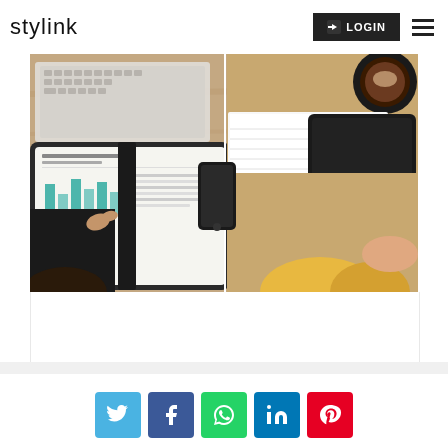stylink | LOGIN
[Figure (photo): Overhead view of people working at a desk with tablets, notebooks, and a smartphone on a wooden table surface.]
[Figure (infographic): Social share buttons for Twitter, Facebook, WhatsApp, LinkedIn, and Pinterest.]